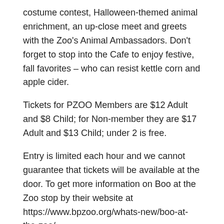costume contest, Halloween-themed animal enrichment, an up-close meet and greets with the Zoo's Animal Ambassadors. Don't forget to stop into the Cafe to enjoy festive, fall favorites – who can resist kettle corn and apple cider.
Tickets for PZOO Members are $12 Adult and $8 Child; for Non-member they are $17 Adult and $13 Child; under 2 is free.
Entry is limited each hour and we cannot guarantee that tickets will be available at the door. To get more information on Boo at the Zoo stop by their website at https://www.bpzoo.org/whats-new/boo-at-the-zoo/.
Boo at the Zoo is back at Buttonwood Park Zoo.